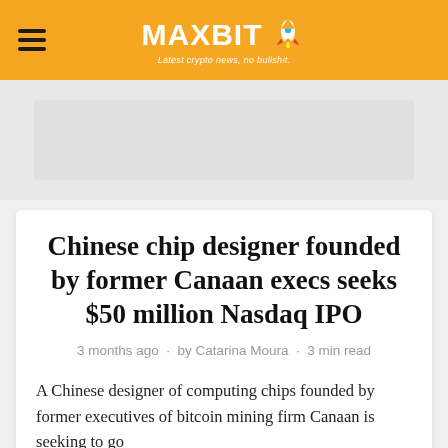MAXBIT — Latest crypto news, no bullshit.
Chinese chip designer founded by former Canaan execs seeks $50 million Nasdaq IPO
3 months ago · by Catarina Moura · 3 min read
A Chinese designer of computing chips founded by former executives of bitcoin mining firm Canaan is seeking to go